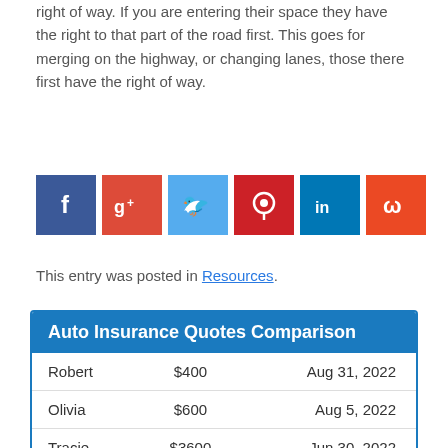right of way. If you are entering their space they have the right to that part of the road first. This goes for merging on the highway, or changing lanes, those there first have the right of way.
[Figure (other): Social media sharing icons: Facebook, Google+, Twitter, Pinterest, LinkedIn, StumbleUpon]
This entry was posted in Resources.
| Robert | $400 | Aug 31, 2022 |
| Olivia | $600 | Aug 5, 2022 |
| Tracie | $3600 | Jun 30, 2022 |
| Laura | $3600 | Jun 27, 2022 |